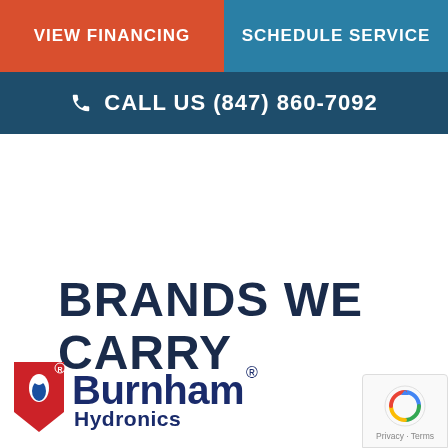VIEW FINANCING | SCHEDULE SERVICE
📞 CALL US (847) 860-7092
BRANDS WE CARRY
[Figure (logo): Burnham Hydronics logo with red and blue shield/drop icon, bold blue 'Burnham' text with registered trademark symbol, and blue 'Hydronics' subtitle]
[Figure (other): reCAPTCHA badge with spinning arrows icon and 'Privacy - Terms' text]